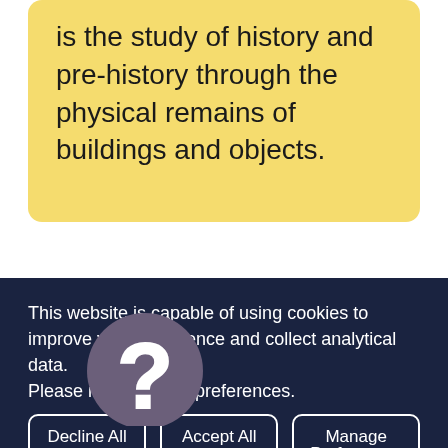is the study of history and pre-history through the physical remains of buildings and objects.
[Figure (illustration): A circular icon with a dark purple/grey background featuring a large white question mark symbol, positioned partially above a mauve/purple banner bar.]
This website is capable of using cookies to improve your experience and collect analytical data. Please indicate your preferences.
Decline All
Accept All
Manage Preferences